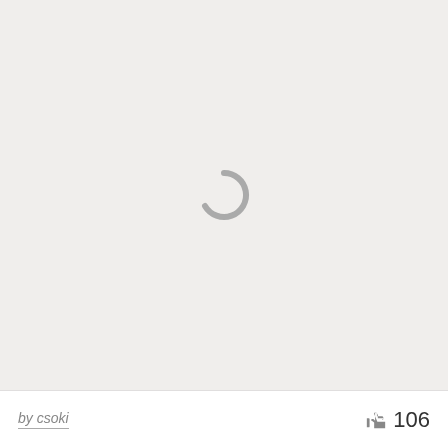[Figure (other): Loading spinner icon — a gray arc/partial circle indicating a loading state, centered in a light gray content area]
by csoki
106